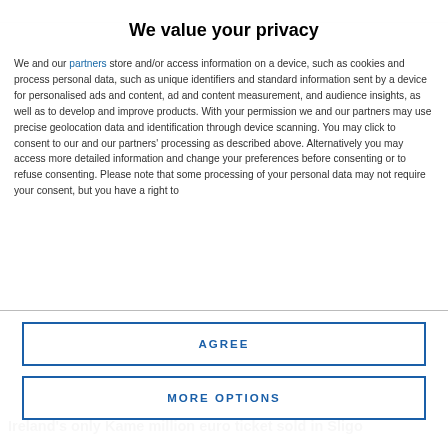We value your privacy
We and our partners store and/or access information on a device, such as cookies and process personal data, such as unique identifiers and standard information sent by a device for personalised ads and content, ad and content measurement, and audience insights, as well as to develop and improve products. With your permission we and our partners may use precise geolocation data and identification through device scanning. You may click to consent to our and our partners' processing as described above. Alternatively you may access more detailed information and change your preferences before consenting or to refuse consenting. Please note that some processing of your personal data may not require your consent, but you have a right to
AGREE
MORE OPTIONS
Ireland's only Kame million euro ticket sold in Sligo